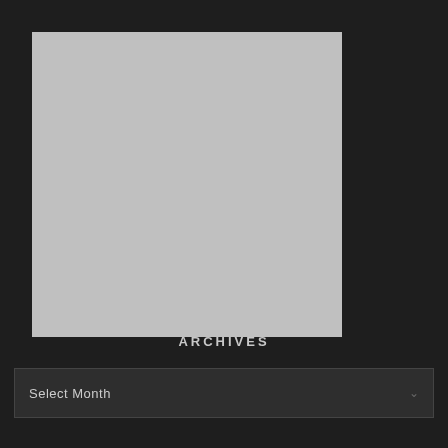[Figure (other): Gray placeholder image rectangle on dark background]
ARCHIVES
Select Month